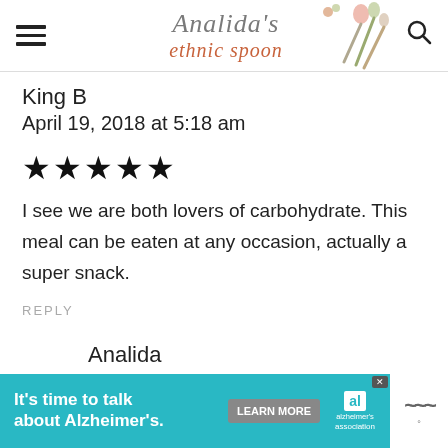Analida's ethnic spoon
King B
April 19, 2018 at 5:18 am
[Figure (other): Five filled black stars representing a 5-star rating]
I see we are both lovers of carbohydrate. This meal can be eaten at any occasion, actually a super snack.
REPLY
Analida
[Figure (other): Advertisement banner: It's time to talk about Alzheimer's. LEARN MORE button, Alzheimer's Association logo, close button.]